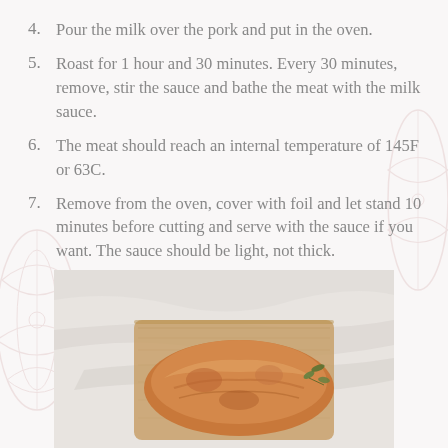4. Pour the milk over the pork and put in the oven.
5. Roast for 1 hour and 30 minutes. Every 30 minutes, remove, stir the sauce and bathe the meat with the milk sauce.
6. The meat should reach an internal temperature of 145F or 63C.
7. Remove from the oven, cover with foil and let stand 10 minutes before cutting and serve with the sauce if you want. The sauce should be light, not thick.
[Figure (photo): Photo of roasted pork loin on a wooden cutting board on a marble surface, garnished with fresh herbs]